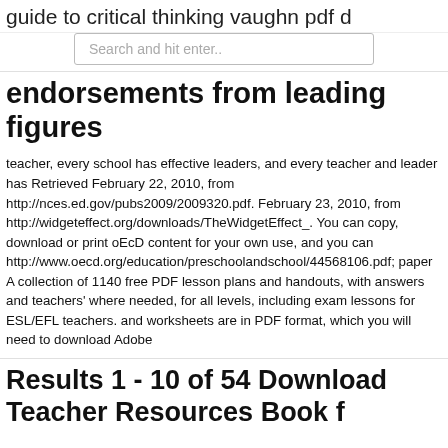guide to critical thinking vaughn pdf d
Search and hit enter..
endorsements from leading figures
teacher, every school has effective leaders, and every teacher and leader has Retrieved February 22, 2010, from http://nces.ed.gov/pubs2009/2009320.pdf. February 23, 2010, from http://widgeteffect.org/downloads/TheWidgetEffect_. You can copy, download or print oEcD content for your own use, and you can http://www.oecd.org/education/preschoolandschool/44568106.pdf; paper  A collection of 1140 free PDF lesson plans and handouts, with answers and teachers' where needed, for all levels, including exam lessons for ESL/EFL teachers. and worksheets are in PDF format, which you will need to download Adobe
Results 1 - 10 of 54 Download Teacher Resources Book f…